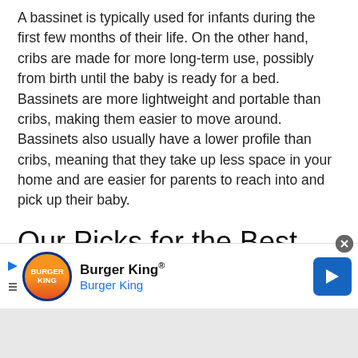A bassinet is typically used for infants during the first few months of their life. On the other hand, cribs are made for more long-term use, possibly from birth until the baby is ready for a bed. Bassinets are more lightweight and portable than cribs, making them easier to move around. Bassinets also usually have a lower profile than cribs, meaning that they take up less space in your home and are easier for parents to reach into and pick up their baby.
Our Picks for the Best Bedside Bassinets
[Figure (other): Burger King advertisement banner with logo, name 'Burger King®', subtitle 'Burger King', navigation icon, and close button]